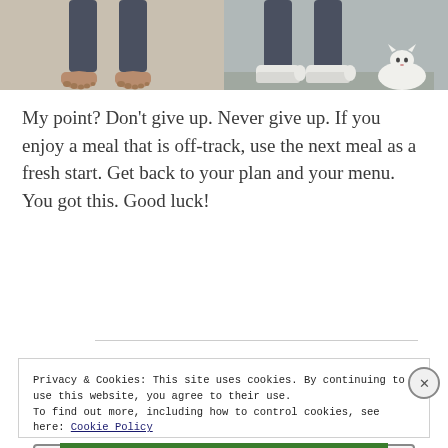[Figure (photo): Two side-by-side photos showing the lower legs and feet of a person. Left photo: bare feet on carpet/floor. Right photo: feet wearing white sneakers on a hard floor, with a white cat visible at the right edge.]
My point? Don't give up. Never give up. If you enjoy a meal that is off-track, use the next meal as a fresh start. Get back to your plan and your menu. You got this. Good luck!
Privacy & Cookies: This site uses cookies. By continuing to use this website, you agree to their use.
To find out more, including how to control cookies, see here: Cookie Policy
Close and accept